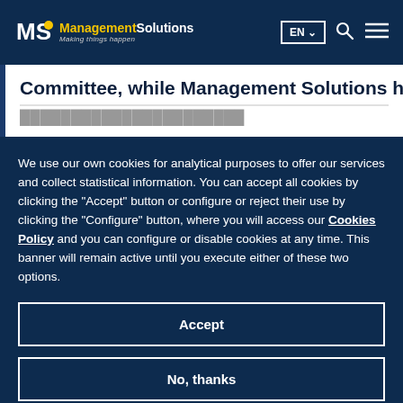[Figure (logo): Management Solutions logo with MS letters, gold dot, and tagline 'Making things happen' on dark navy header]
Committee, while Management Solutions has
We use our own cookies for analytical purposes to offer our services and collect statistical information. You can accept all cookies by clicking the "Accept" button or configure or reject their use by clicking the "Configure" button, where you will access our Cookies Policy and you can configure or disable cookies at any time. This banner will remain active until you execute either of these two options.